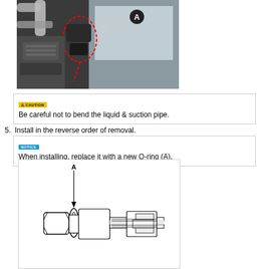[Figure (photo): Photograph of motorcycle engine component with a dashed red outline highlighting a part labeled A (connector/coupling on the liquid & suction pipe area)]
Be careful not to bend the liquid & suction pipe.
5.  Install in the reverse order of removal.
When installing, replace it with a new O-ring (A).
[Figure (engineering-diagram): Technical line drawing of a bolt/fitting assembly with an O-ring labeled A indicated by an arrow pointing to the O-ring on the left side of the fitting]